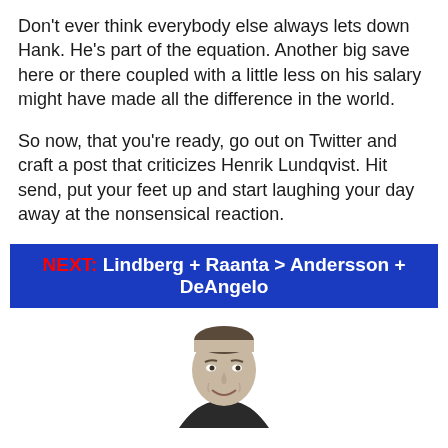Don't ever think everybody else always lets down Hank. He's part of the equation. Another big save here or there coupled with a little less on his salary might have made all the difference in the world.
So now, that you're ready, go out on Twitter and craft a post that criticizes Henrik Lundqvist. Hit send, put your feet up and start laughing your day away at the nonsensical reaction.
NEXT: Lindberg + Raanta > Andersson + DeAngelo
[Figure (photo): Black and white photo of a smiling man with short hair, cropped at the shoulders, wearing a dark top.]